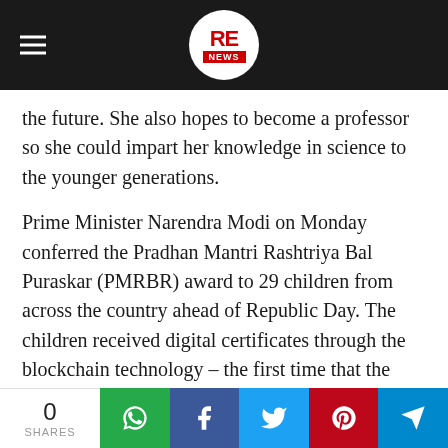RE NEWS logo navigation bar
the future. She also hopes to become a professor so she could impart her knowledge in science to the younger generations.
Prime Minister Narendra Modi on Monday conferred the Pradhan Mantri Rashtriya Bal Puraskar (PMRBR) award to 29 children from across the country ahead of Republic Day. The children received digital certificates through the blockchain technology – the first time that the technology has been used in conferring awards by the government and a cash prize of Rs 1 lakh each. The Prime Minister also interacted with the winners virtually. The awards have been given for winners of 2021 and 2022 PMRBR…
0 SHARES | WhatsApp | Facebook | Twitter | Pinterest | Telegram